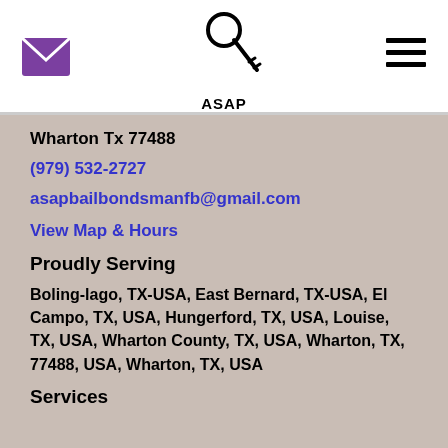[Figure (logo): ASAP Bail Bonds logo with key graphic and text]
Wharton Tx 77488
(979) 532-2727
asapbailbondsmanfb@gmail.com
View Map & Hours
Proudly Serving
Boling-lago, TX-USA, East Bernard, TX-USA, El Campo, TX, USA, Hungerford, TX, USA, Louise, TX, USA, Wharton County, TX, USA, Wharton, TX, 77488, USA, Wharton, TX, USA
Services